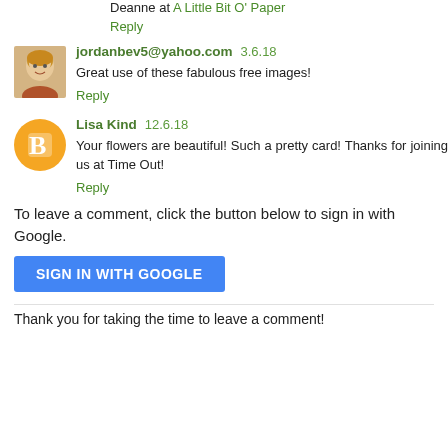Deanne at A Little Bit O' Paper
Reply
jordanbev5@yahoo.com  3.6.18
Great use of these fabulous free images!
Reply
Lisa Kind  12.6.18
Your flowers are beautiful! Such a pretty card! Thanks for joining us at Time Out!
Reply
To leave a comment, click the button below to sign in with Google.
SIGN IN WITH GOOGLE
Thank you for taking the time to leave a comment!